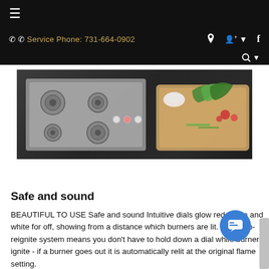≡   ☎ Service Phone: 731-664-0902   📍 👤 ▾ f   🔍 ▾
[Figure (photo): Product photo of a stainless steel gas cooktop with knobs on a dark countertop, with a wooden cutting board and fresh vegetables (lettuce, tomatoes) beside it.]
Safe and sound
BEAUTIFUL TO USE Safe and sound Intuitive dials glow red for on and white for off, showing from a distance which burners are lit. The Auto-reignite system means you don't have to hold down a dial while burners ignite - if a burner goes out it is automatically relit at the original flame setting.